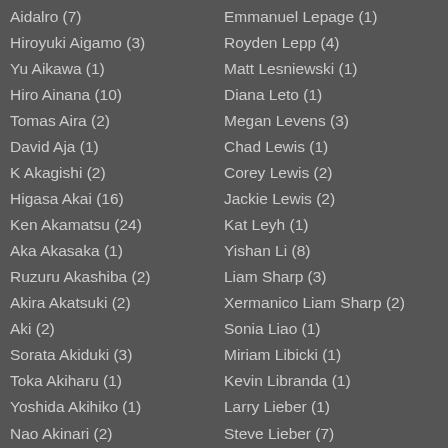Aidalro (7)
Hiroyuki Aigamo (3)
Yu Aikawa (1)
Hiro Ainana (10)
Tomas Aira (2)
David Aja (1)
K Akagishi (2)
Higasa Akai (16)
Ken Akamatsu (24)
Aka Akasaka (1)
Ruzuru Akashiba (2)
Akira Akatsuki (2)
Aki (2)
Sorata Akiduki (3)
Toka Akiharu (1)
Yoshida Akihiko (1)
Nao Akinari (2)
Sunkanmi Akinboye (2)
Tony Akins (3)
Emmanuel Lepage (1)
Royden Lepp (4)
Matt Lesniewski (1)
Diana Leto (1)
Megan Levens (3)
Chad Lewis (1)
Corey Lewis (2)
Jackie Lewis (2)
Kat Leyh (1)
Yishan Li (8)
Liam Sharp (3)
Xermanico Liam Sharp (2)
Sonia Liao (1)
Miriam Libicki (1)
Kevin Libranda (1)
Larry Lieber (1)
Steve Lieber (7)
Rob Liefeld (2)
Daniel Lieske (3)